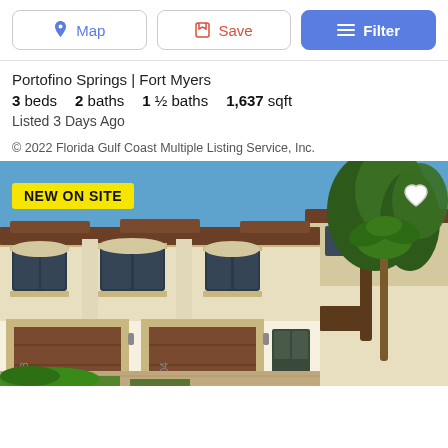Map | Save | Filter
Portofino Springs | Fort Myers
3 beds   2 baths   1 ½ baths   1,637 sqft
Listed 3 Days Ago
© 2022 Florida Gulf Coast Multiple Listing Service, Inc.
[Figure (photo): Mediterranean-style two-story townhome with brown garage doors, yellow and white stucco exterior, with 'NEW ON SITE' badge overlay. Unit numbers 103 and 104 visible.]